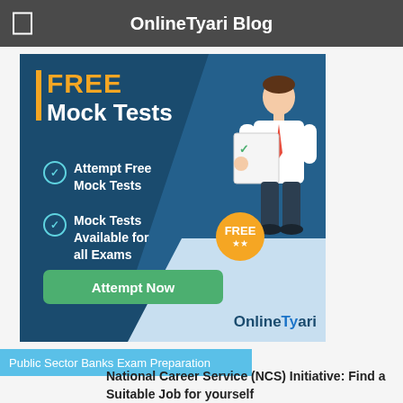OnlineTyari Blog
[Figure (infographic): OnlineTyari FREE Mock Tests banner ad with blue background, checklist items 'Attempt Free Mock Tests' and 'Mock Tests Available for all Exams', a green 'Attempt Now' button, a cartoon businessman holding a paper with checkmarks and a FREE badge, and the OnlineTyari logo at the bottom right.]
Public Sector Banks Exam Preparation
National Career Service (NCS) Initiative: Find a Suitable Job for yourself